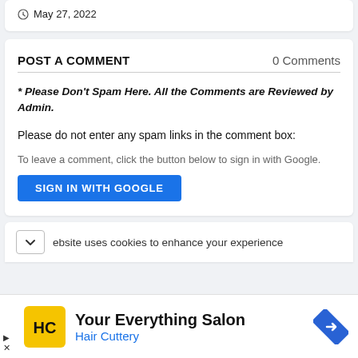May 27, 2022
POST A COMMENT
0 Comments
* Please Don't Spam Here. All the Comments are Reviewed by Admin.
Please do not enter any spam links in the comment box:
To leave a comment, click the button below to sign in with Google.
SIGN IN WITH GOOGLE
ebsite uses cookies to enhance your experience
[Figure (infographic): Hair Cuttery advertisement banner with logo and navigation icon]